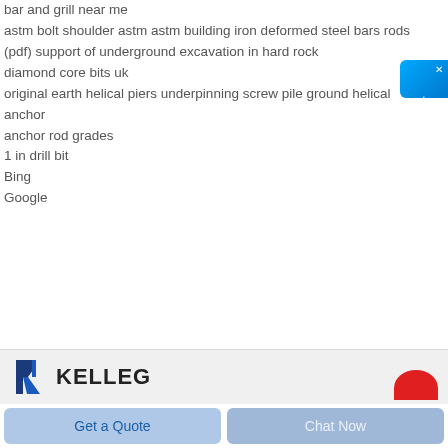bar and grill near me
astm bolt shoulder astm astm building iron deformed steel bars rods
(pdf) support of underground excavation in hard rock
diamond core bits uk
original earth helical piers underpinning screw pile ground helical anchor
anchor rod grades
1 in drill bit
Bing
Google
[Figure (logo): KELLEG company logo with stylized K icon in blue and black, and a red circle element]
Get a Quote
Chat Now